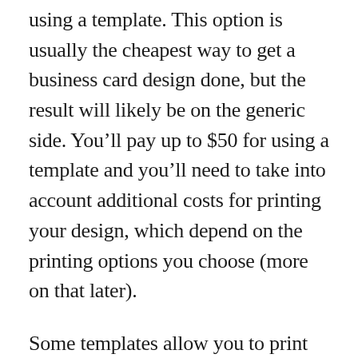using a template. This option is usually the cheapest way to get a business card design done, but the result will likely be on the generic side. You'll pay up to $50 for using a template and you'll need to take into account additional costs for printing your design, which depend on the printing options you choose (more on that later).
Some templates allow you to print the design yourself on a printer—but the results generally look like you did that, so be careful with this option. Other templates allow you to create your design to be printed out by a service. Most templates let you select certain generic